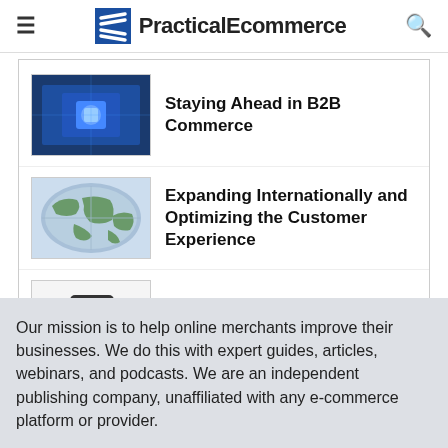PracticalEcommerce
Staying Ahead in B2B Commerce
Expanding Internationally and Optimizing the Customer Experience
Stop Promo Abuse and Increase Revenue
Our mission is to help online merchants improve their businesses. We do this with expert guides, articles, webinars, and podcasts. We are an independent publishing company, unaffiliated with any e-commerce platform or provider.